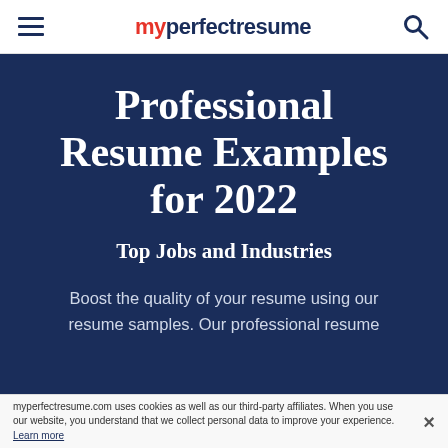myperfectresume
Professional Resume Examples for 2022
Top Jobs and Industries
Boost the quality of your resume using our resume samples. Our professional resume
myperfectresume.com uses cookies as well as our third-party affiliates. When you use our website, you understand that we collect personal data to improve your experience. Learn more